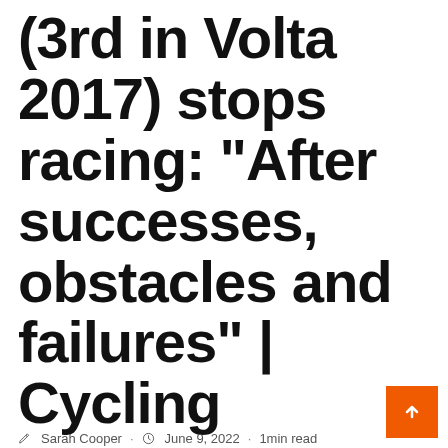(3rd in Volta 2017) stops racing: “After successes, obstacles and failures” | Cycling
Sarah Cooper · June 9, 2022 · 1 min read